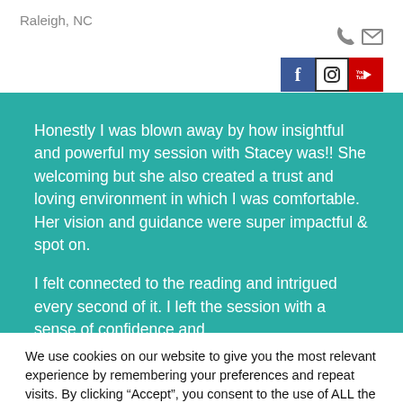Raleigh, NC
Honestly I was blown away by how insightful and powerful my session with Stacey was!! She welcoming but she also created a trust and loving environment in which I was comfortable. Her vision and guidance were super impactful & spot on.

I felt connected to the reading and intrigued every second of it. I left the session with a sense of confidence and...
We use cookies on our website to give you the most relevant experience by remembering your preferences and repeat visits. By clicking “Accept”, you consent to the use of ALL the cookies.
Cookie settings
ACCEPT